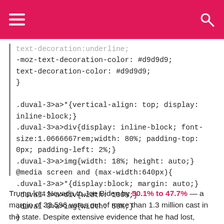text-decoration:underline;
-moz-text-decoration-color: #d9d9d9;
text-decoration-color: #d9d9d9;
}
.duval-3>a>*{vertical-align: top; display: inline-block;}
.duval-3>a>div{display: inline-block; font-size:1.0666667rem;width: 80%; padding-top: 0px; padding-left: 2%;}
.duval-3>a>img{width: 18%; height: auto;}
@media screen and (max-width:640px){
.duval-3>a>*{display:block; margin: auto;}
.duval-3>a>div{width: 100%;}
.duval-3>a>img{width: 50%;}
}
Trump lost Nevada to Joe Biden by 50.1% to 47.7% — a margin of 33,596 votes out of more than 1.3 million cast in the state. Despite extensive evidence that he had lost, Trump